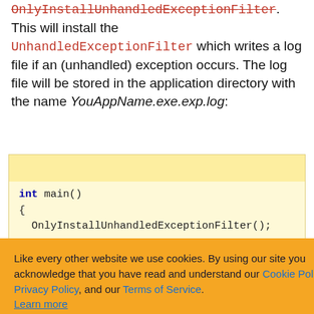OnlyInstallUnhandledExceptionFilter. This will install the UnhandledExceptionFilter which writes a log file if an (unhandled) exception occurs. The log file will be stored in the application directory with the name YouAppName.exe.exp.log:
int main()
{
    OnlyInstallUnhandledExceptionFilter();
Like every other website we use cookies. By using our site you acknowledge that you have read and understand our Cookie Policy, Privacy Policy, and our Terms of Service.
Learn more
r and just call llstack. Then s a small example.